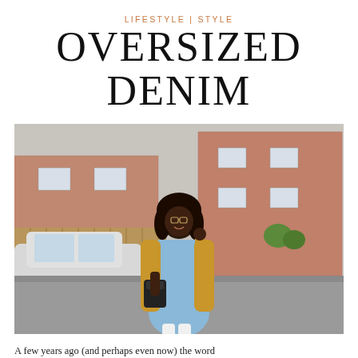LIFESTYLE | STYLE
OVERSIZED DENIM
[Figure (photo): A Black woman standing in a parking lot wearing a light blue denim dress, mustard yellow oversized cardigan, white ankle boots, and holding a black backpack. Brick buildings visible in the background along with a white station wagon car.]
A few years ago (and perhaps even now) the word